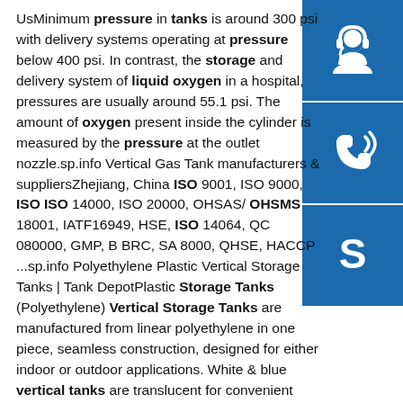UsMinimum pressure in tanks is around 300 psi with delivery systems operating at pressure below 400 psi. In contrast, the storage and delivery system of liquid oxygen in a hospital, pressures are usually around 55.1 psi. The amount of oxygen present inside the cylinder is measured by the pressure at the outlet nozzle.sp.info Vertical Gas Tank manufacturers & suppliersZhejiang, China ISO 9001, ISO 9000, ISO ISO 14000, ISO 20000, OHSAS/ OHSMS 18001, IATF16949, HSE, ISO 14064, QC 080000, GMP, B BRC, SA 8000, QHSE, HACCP ...sp.info Polyethylene Plastic Vertical Storage Tanks | Tank DepotPlastic Storage Tanks (Polyethylene) Vertical Storage Tanks are manufactured from linear polyethylene in one piece, seamless construction, designed for either indoor or outdoor applications. White & blue vertical tanks are translucent for convenient product level viewing. Flat bottom design provides for easy and cost efficient ...
[Figure (illustration): Blue square button with white headset/support icon]
[Figure (illustration): Blue square button with white phone/call icon]
[Figure (illustration): Blue square button with white Skype icon]